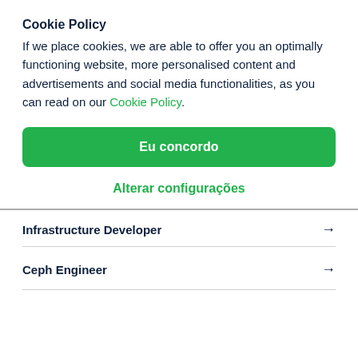Cookie Policy
If we place cookies, we are able to offer you an optimally functioning website, more personalised content and advertisements and social media functionalities, as you can read on our Cookie Policy.
Eu concordo
Alterar configurações
Infrastructure Developer →
Ceph Engineer →